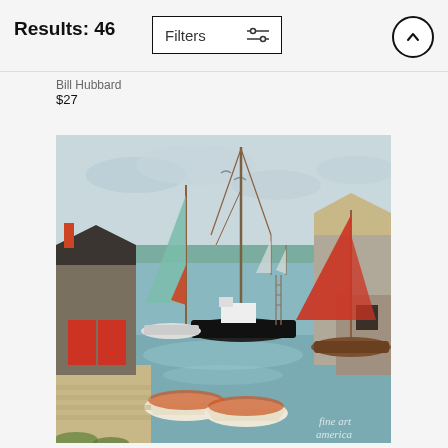Results: 46
Bill Hubbard
$27
[Figure (photo): Painting of a harbor scene with sailboats, fishing vessels, docks and waterfront buildings. Red sails on sailboats, small rowboats in foreground, calm blue-green water, distant hills. Watermark: fine art america.]